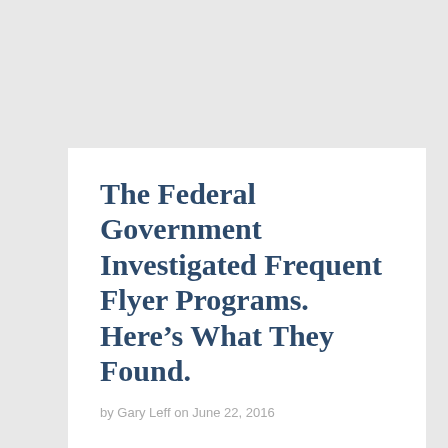The Federal Government Investigated Frequent Flyer Programs. Here's What They Found.
by Gary Leff on June 22, 2016
The Department of Transportation's Office of Inspector General completed a report (.pdf) on government oversight of airline frequent